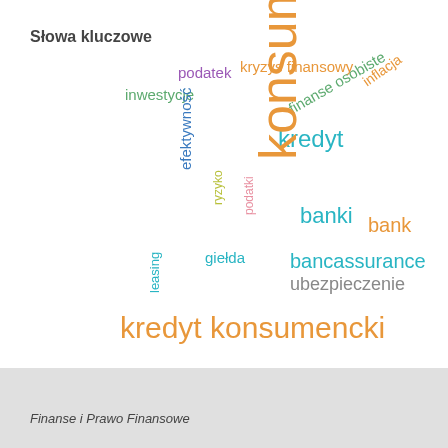Słowa kluczowe
[Figure (infographic): Word cloud in Polish with finance-related keywords of varying sizes and colors: konsument (large, orange), kredyt konsumencki (large, orange), bancassurance (medium, teal), ubezpieczenie (medium, gray), kredyt (medium, teal), banki (medium, teal), bank (medium, teal/orange), finanse osobiste (medium, green, rotated), inflacja (medium, orange, rotated), kryzys finansowy (medium, orange), podatek (medium, purple), inwestycje (medium, green), efektywność (medium, blue, rotated), leasing (small, teal, rotated), giełda (small, teal), ryzyko (small, yellow-green, rotated), podatki (small, pink, rotated)]
Finanse i Prawo Finansowe